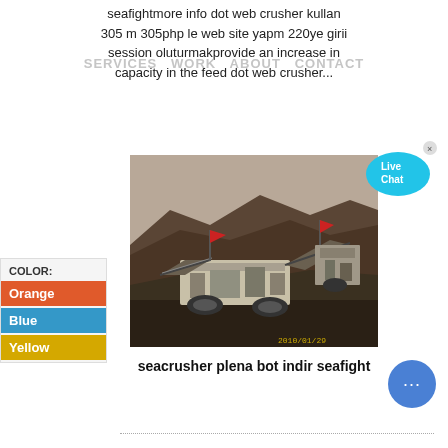seafightmore info dot web crusher kullan 305 m 305php le web site yapm 220ye girii session oluturmakprovide an increase in capacity in the feed dot web crusher...
[Figure (photo): Photograph of large mining crusher machinery on a dark rocky terrain with red flags visible, dated 2010/01/29]
seacrusher plena bot indir seafight
[Figure (infographic): Color selector panel showing Orange, Blue, and Yellow options]
[Figure (infographic): Live Chat bubble widget in cyan/blue]